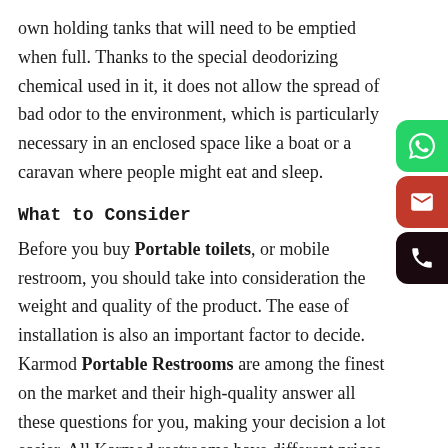own holding tanks that will need to be emptied when full. Thanks to the special deodorizing chemical used in it, it does not allow the spread of bad odor to the environment, which is particularly necessary in an enclosed space like a boat or a caravan where people might eat and sleep.
What to Consider
Before you buy Portable toilets, or mobile restroom, you should take into consideration the weight and quality of the product. The ease of installation is also an important factor to decide. Karmod Portable Restrooms are among the finest on the market and their high-quality answer all these questions for you, making your decision a lot easier. All Karmod restrooms have different prices depending on